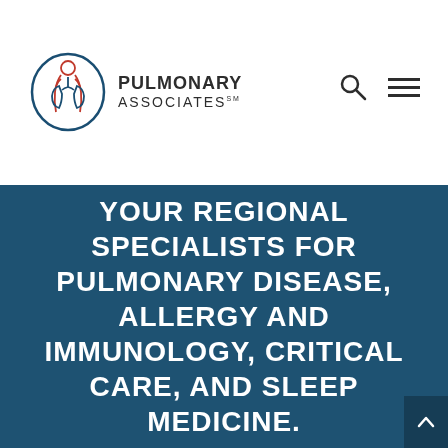[Figure (logo): Pulmonary Associates logo with stylized human torso outline in blue and red, showing lungs, alongside text 'PULMONARY ASSOCIATES']
YOUR REGIONAL SPECIALISTS FOR PULMONARY DISEASE, ALLERGY AND IMMUNOLOGY, CRITICAL CARE, AND SLEEP MEDICINE.